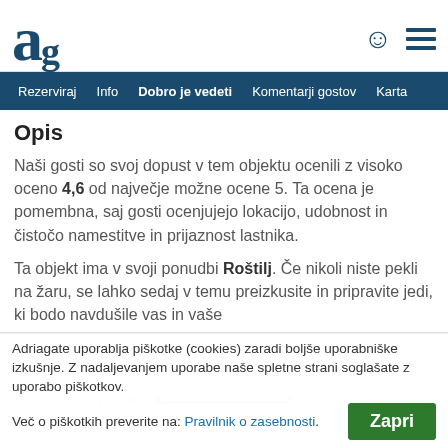[Figure (logo): Adriagate logo: large stylized letter 'a' in dark teal]
Rezerviraj  Info  Dobro je vedeti  Komentarji gostov  Karta
Opis
Naši gosti so svoj dopust v tem objektu ocenili z visoko oceno 4,6 od največje možne ocene 5. Ta ocena je pomembna, saj gosti ocenjujejo lokacijo, udobnost in čistočo namestitve in prijaznost lastnika.
Ta objekt ima v svoji ponudbi Roštilj. Če nikoli niste pekli na žaru, se lahko sedaj v temu preizkusite in pripravite jedi, ki bodo navdušile vas in vaše
Poglej več ∨
Adriagate uporablja piškotke (cookies) zaradi boljše uporabniške izkušnje. Z nadaljevanjem uporabe naše spletne strani soglašate z uporabo piškotkov.
Dobro je vedeti
Več o piškotkih preverite na: Pravilnik o zasebnosti.
Zapri